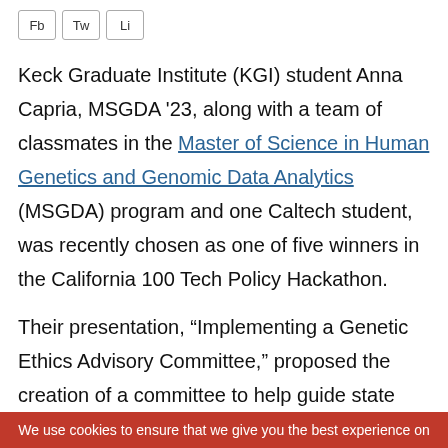[Figure (other): Social share buttons: Fb, Tw, Li]
Keck Graduate Institute (KGI) student Anna Capria, MSGDA '23, along with a team of classmates in the Master of Science in Human Genetics and Genomic Data Analytics (MSGDA) program and one Caltech student, was recently chosen as one of five winners in the California 100 Tech Policy Hackathon.
Their presentation, “Implementing a Genetic Ethics Advisory Committee,” proposed the creation of a committee to help guide state policy and educate key decision-makers on ethical considerations regarding health practices based on genetics.
We use cookies to ensure that we give you the best experience on